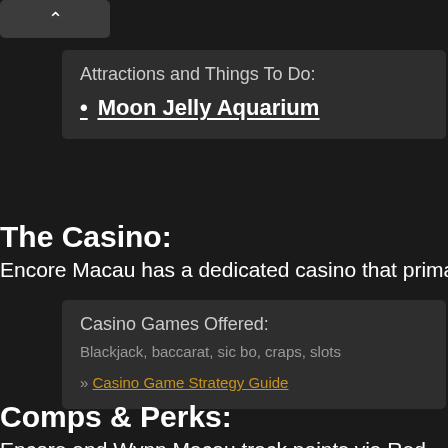[Figure (other): Chevron up button/toggle]
Attractions and Things To Do:
Moon Jelly Aquarium
The Casino:
Encore Macau has a dedicated casino that primarily targets jun
Casino Games Offered:
Blackjack, baccarat, sic bo, craps, slots
» Casino Game Strategy Guide
Comps & Perks:
Encore and Wynn Macau track points via Red Card.